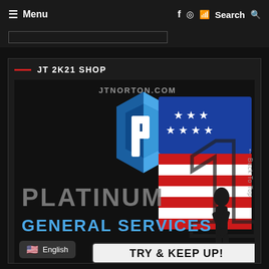≡ Menu   f  ⊙  🐦  Search 🔍
[Figure (logo): Platinum General Services product page screenshot with a 3D blue hexagon P logo on the left and a large number 1 styled with American flag colors (blue top with stars, red and white stripes) on the right. A silhouette of a woman is overlaid on the 1. Text reads PLATINUM GENERAL SERVICES and TRY & KEEP UP! at the bottom. JTNORTON.COM watermark at top.]
JT 2K21 SHOP
English